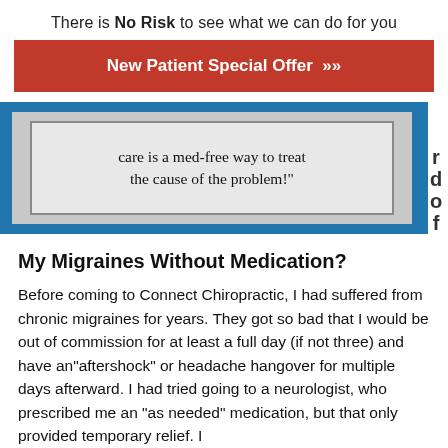There is No Risk to see what we can do for you
[Figure (other): Red button with white bold text reading 'New Patient Special Offer >>']
[Figure (other): Quote box with blue border, gray background, and cursive handwritten text reading 'care is a med-free way to treat the cause of the problem!' Partial letters 'r d o f' visible on the right edge.]
My Migraines Without Medication?
Before coming to Connect Chiropractic, I had suffered from chronic migraines for years. They got so bad that I would be out of commission for at least a full day (if not three) and have an"aftershock" or headache hangover for multiple days afterward. I had tried going to a neurologist, who prescribed me an "as needed" medication, but that only provided temporary relief. I